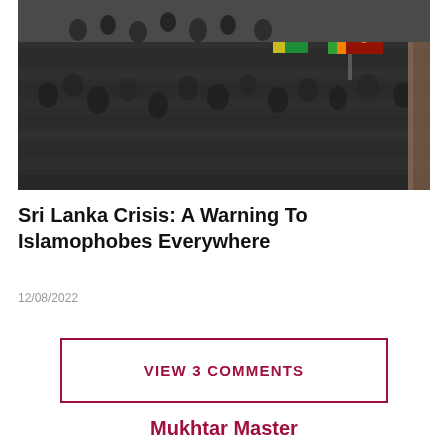[Figure (photo): Aerial view of a large crowd of protesters, with Sri Lanka flag visible in the upper right]
Sri Lanka Crisis: A Warning To Islamophobes Everywhere
12/08/2022
VIEW 3 COMMENTS
Mukhtar Master